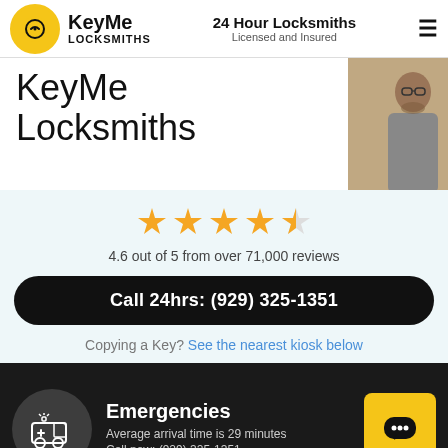KeyMe Locksmiths | 24 Hour Locksmiths Licensed and Insured
KeyMe Locksmiths
[Figure (photo): Photo of a locksmith/technician with glasses and beard working]
4.6 out of 5 from over 71,000 reviews
Call 24hrs: (929) 325-1351
Copying a Key? See the nearest kiosk below
Emergencies
Average arrival time is 29 minutes
Call now: (929) 325-1351
[Figure (illustration): Emergency vehicle / ambulance icon in circular dark badge]
[Figure (illustration): Yellow chat/message button icon]